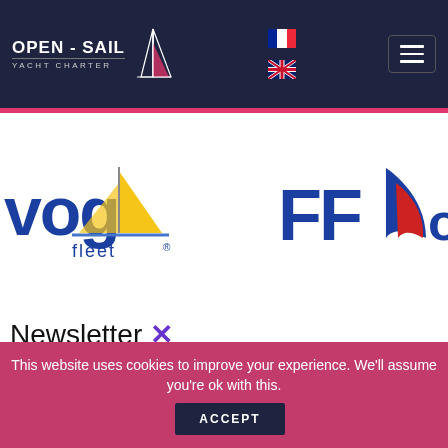[Figure (logo): Open-Sail Yacht Charter logo with sailboat graphic on dark navy header]
[Figure (logo): VOG Fleet logo with yellow sailboat]
[Figure (logo): FF Voile (French sailing federation) logo]
Newsletter ×
[sibwp_form id=1]
This website uses cookies to improve your experience. We'll assume you're ok with this. ACCEPT